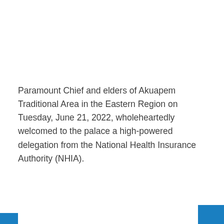Paramount Chief and elders of Akuapem Traditional Area in the Eastern Region on Tuesday, June 21, 2022, wholeheartedly welcomed to the palace a high-powered delegation from the National Health Insurance Authority (NHIA).